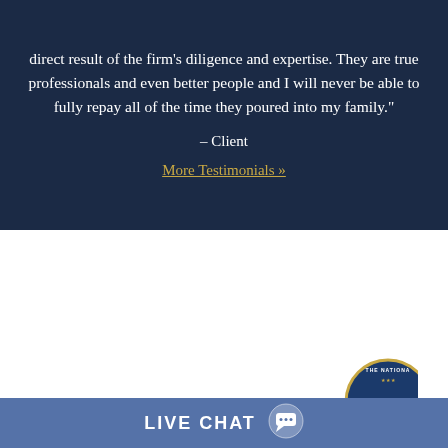direct result of the firm's diligence and expertise. They are true professionals and even better people and I will never be able to fully repay all of the time they poured into my family."
– Client
More Testimonials »
[Figure (logo): The National [law firm] circular badge logo with blue background and gold border, partially visible at bottom right]
LIVE CHAT